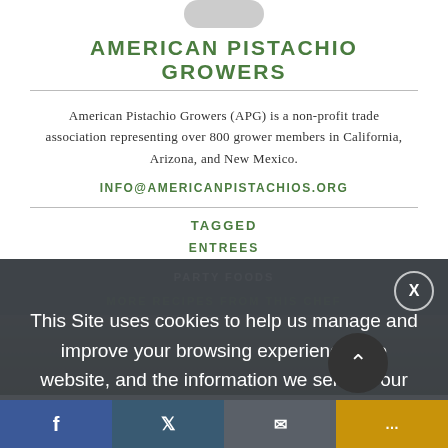AMERICAN PISTACHIO GROWERS
American Pistachio Growers (APG) is a non-profit trade association representing over 800 grower members in California, Arizona, and New Mexico.
INFO@AMERICANPISTACHIOS.ORG
TAGGED
ENTREES
PARTY FOODS
MORE RECIPES FROM THIS CHEF
This Site uses cookies to help us manage and improve your browsing experience, the website, and the information we send to our users. Click here for more information.